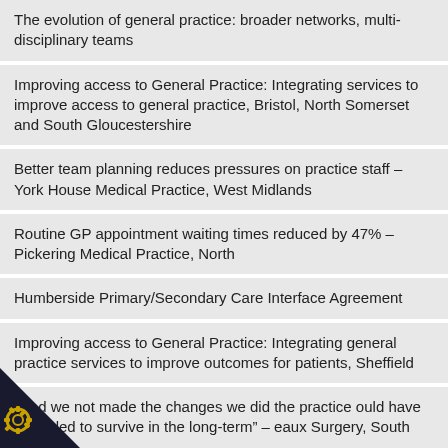The evolution of general practice: broader networks, multi-disciplinary teams
Improving access to General Practice: Integrating services to improve access to general practice, Bristol, North Somerset and South Gloucestershire
Better team planning reduces pressures on practice staff – York House Medical Practice, West Midlands
Routine GP appointment waiting times reduced by 47% – Pickering Medical Practice, North
Humberside Primary/Secondary Care Interface Agreement
Improving access to General Practice: Integrating general practice services to improve outcomes for patients, Sheffield
“Had we not made the changes we did the practice would have struggled to survive in the long-term” – eaux Surgery, South West